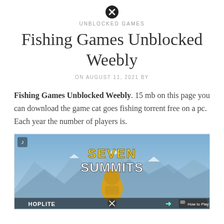[Figure (illustration): Close/exit button circle with X icon centered at top of page]
UNBLOCKED GAMES
Fishing Games Unblocked Weebly
ON AUGUST 11, 2021 BY
Fishing Games Unblocked Weebly. 15 mb on this page you can download the game cat goes fishing torrent free on a pc. Each year the number of players is.
[Figure (screenshot): Screenshot of a game called 'Seven Summits' showing a character in a yellow hoodie facing snowy mountain peaks. Hoplite branding visible at bottom. How to Play button in bottom right corner.]